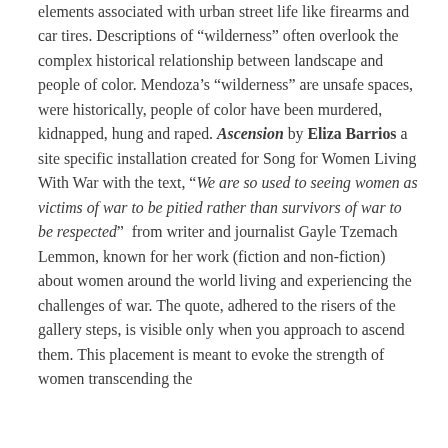elements associated with urban street life like firearms and car tires. Descriptions of "wilderness" often overlook the complex historical relationship between landscape and people of color. Mendoza's "wilderness" are unsafe spaces, were historically, people of color have been murdered, kidnapped, hung and raped. Ascension by Eliza Barrios a site specific installation created for Song for Women Living With War with the text, "We are so used to seeing women as victims of war to be pitied rather than survivors of war to be respected" from writer and journalist Gayle Tzemach Lemmon, known for her work (fiction and non-fiction) about women around the world living and experiencing the challenges of war. The quote, adhered to the risers of the gallery steps, is visible only when you approach to ascend them. This placement is meant to evoke the strength of women transcending the